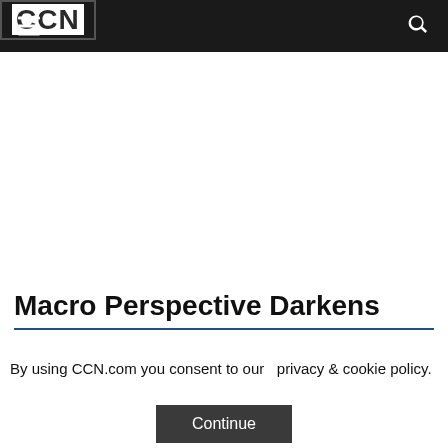CCN
Macro Perspective Darkens
By using CCN.com you consent to our  privacy & cookie policy.
Continue